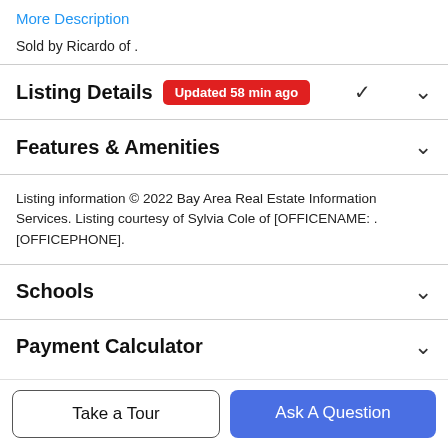More Description
Sold by Ricardo of .
Listing Details Updated 58 min ago
Features & Amenities
Listing information © 2022 Bay Area Real Estate Information Services. Listing courtesy of Sylvia Cole of [OFFICENAME: . [OFFICEPHONE].
Schools
Payment Calculator
Take a Tour
Ask A Question